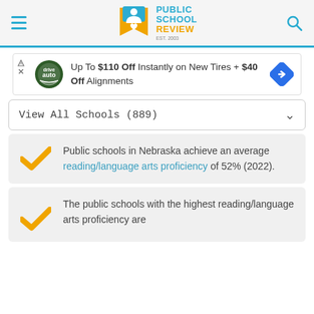PUBLIC SCHOOL REVIEW EST. 2003
[Figure (screenshot): Advertisement banner: Up To $110 Off Instantly on New Tires + $40 Off Alignments, with DriveTire Auto logo and navigation arrow icon]
View All Schools (889)
Public schools in Nebraska achieve an average reading/language arts proficiency of 52% (2022).
The public schools with the highest reading/language arts proficiency are